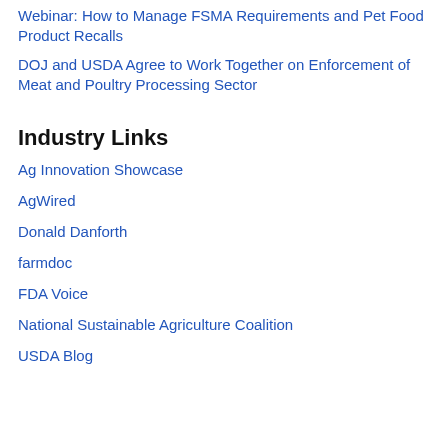Webinar: How to Manage FSMA Requirements and Pet Food Product Recalls
DOJ and USDA Agree to Work Together on Enforcement of Meat and Poultry Processing Sector
Industry Links
Ag Innovation Showcase
AgWired
Donald Danforth
farmdoc
FDA Voice
National Sustainable Agriculture Coalition
USDA Blog